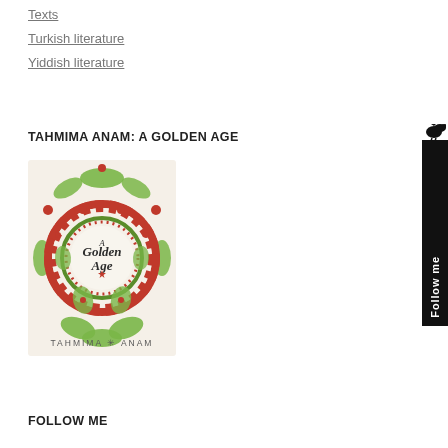Texts
Turkish literature
Yiddish literature
TAHMIMA ANAM: A GOLDEN AGE
[Figure (photo): Book cover of 'A Golden Age' by Tahmima Anam featuring colorful mandala/floral pattern in red and green on white background]
FOLLOW ME